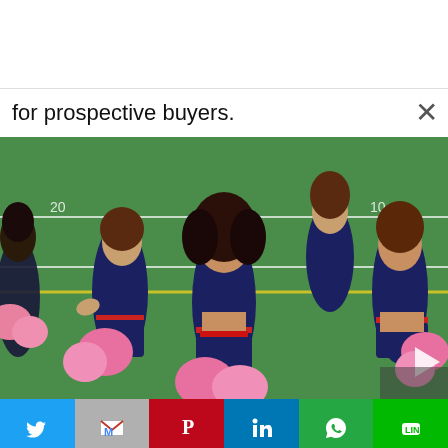for prospective buyers.
[Figure (photo): Cheerleaders in navy and red uniforms holding pink pom-poms performing on a football field]
Twitter | Gmail | Pinterest | LinkedIn | WhatsApp | LINE